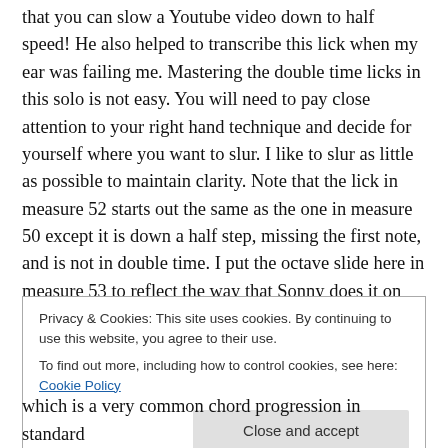that you can slow a Youtube video down to half speed! He also helped to transcribe this lick when my ear was failing me. Mastering the double time licks in this solo is not easy. You will need to pay close attention to your right hand technique and decide for yourself where you want to slur. I like to slur as little as possible to maintain clarity. Note that the lick in measure 52 starts out the same as the one in measure 50 except it is down a half step, missing the first note, and is not in double time. I put the octave slide here in measure 53 to reflect the way that Sonny does it on the tenor.
Privacy & Cookies: This site uses cookies. By continuing to use this website, you agree to their use.
To find out more, including how to control cookies, see here: Cookie Policy
which is a very common chord progression in standard